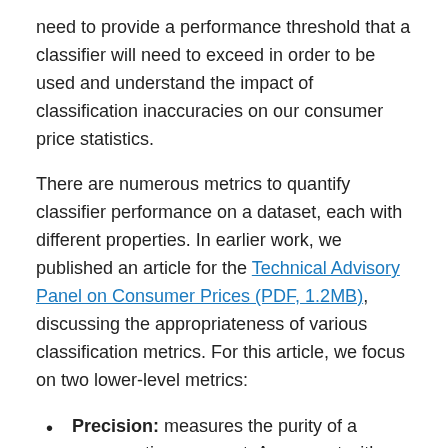need to provide a performance threshold that a classifier will need to exceed in order to be used and understand the impact of classification inaccuracies on our consumer price statistics.
There are numerous metrics to quantify classifier performance on a dataset, each with different properties. In earlier work, we published an article for the Technical Advisory Panel on Consumer Prices (PDF, 1.2MB), discussing the appropriateness of various classification metrics. For this article, we focus on two lower-level metrics:
Precision: measures the purity of a consumption segment. A segment with 90% precision would